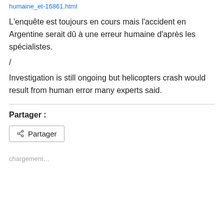humaine_et-16861.html
L'enquête est toujours en cours mais l'accident en Argentine serait dû à une erreur humaine d'après les spécialistes.
/
Investigation is still ongoing but helicopters crash would result from human error many experts said.
Partager :
[Figure (other): Share button with share icon and text 'Partager']
chargement…